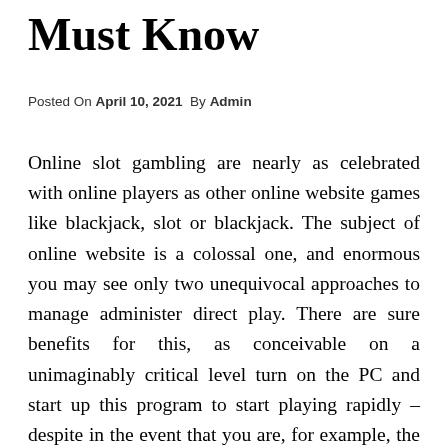Must Know
Posted On April 10, 2021 By Admin
Online slot gambling are nearly as celebrated with online players as other online website games like blackjack, slot or blackjack. The subject of online website is a colossal one, and enormous you may see only two unequivocal approaches to manage administer direct play. There are sure benefits for this, as conceivable on a unimaginably critical level turn on the PC and start up this program to start playing rapidly – despite in the event that you are, for example, the parts who do not use a PC this thing is grand with, or are essentially unsteady about downloading progress the web, there is